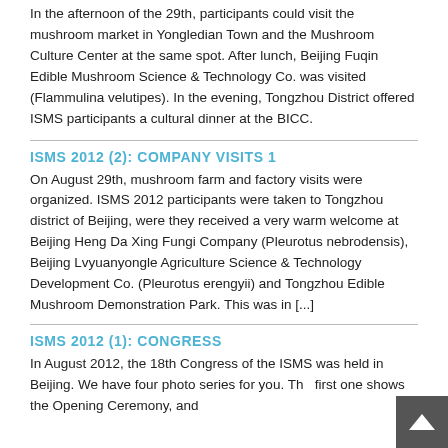In the afternoon of the 29th, participants could visit the mushroom market in Yongledian Town and the Mushroom Culture Center at the same spot. After lunch, Beijing Fuqin Edible Mushroom Science & Technology Co. was visited (Flammulina velutipes). In the evening, Tongzhou District offered ISMS participants a cultural dinner at the BICC.
ISMS 2012 (2): COMPANY VISITS 1
On August 29th, mushroom farm and factory visits were organized. ISMS 2012 participants were taken to Tongzhou district of Beijing, were they received a very warm welcome at Beijing Heng Da Xing Fungi Company (Pleurotus nebrodensis), Beijing Lvyuanyongle Agriculture Science & Technology Development Co. (Pleurotus erengyii) and Tongzhou Edible Mushroom Demonstration Park. This was in [...]
ISMS 2012 (1): CONGRESS
In August 2012, the 18th Congress of the ISMS was held in Beijing. We have four photo series for you. The first one shows the Opening Ceremony, and